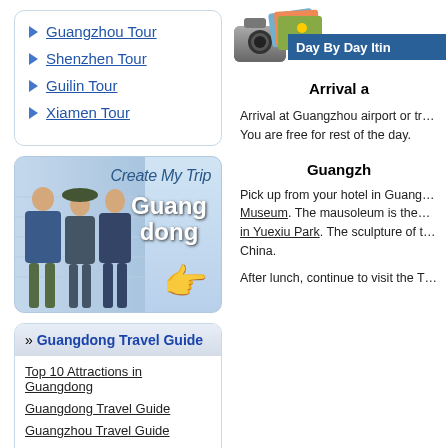Guangzhou Tour
Shenzhen Tour
Guilin Tour
Xiamen Tour
[Figure (illustration): Create My Trip Guangdong banner with three travelers and clickable hand cursor icon]
» Guangdong Travel Guide
Top 10 Attractions in Guangdong
Guangdong Travel Guide
Guangzhou Travel Guide
Shenzhen Travel Guide
Kaiping Travel Guide
Shaoguan Travel Guide
[Figure (illustration): Day By Day Itinerary camera and photo banner header]
Arrival a…
Arrival at Guangzhou airport or tr… You are free for rest of the day.
Guangzh…
Pick up from your hotel in Guang… Museum. The mausoleum is the… in Yuexiu Park. The sculpture of t… China.
After lunch, continue to visit the T…